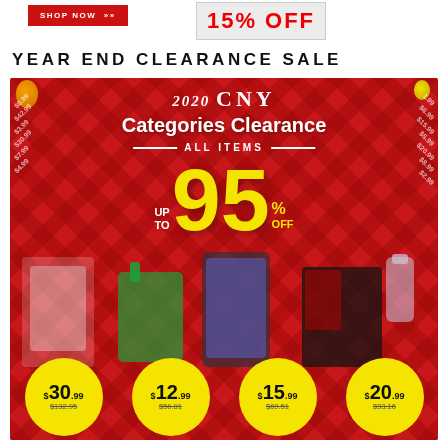[Figure (other): Shop Now button (red) and 15% OFF promotional banner strip at top of page]
YEAR END CLEARANCE SALE
[Figure (infographic): 2020 CNY Categories Clearance promotional banner. All items up to 95% OFF. Products shown with prices: $30.99 (was $132.95), $12.99 (was $56.01), $15.99 (was $69.51), $20.99 (was $93.16).]